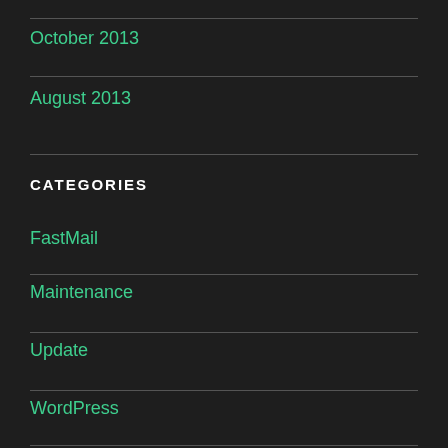October 2013
August 2013
CATEGORIES
FastMail
Maintenance
Update
WordPress